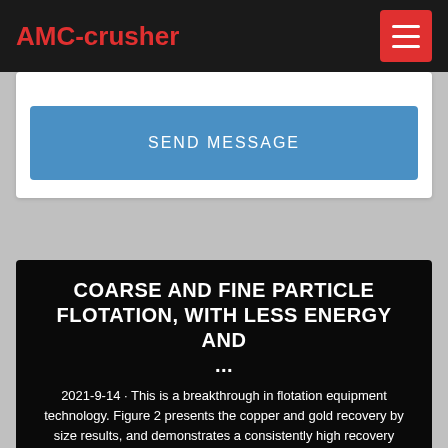AMC-crusher
SEND MESSAGE
COARSE AND FINE PARTICLE FLOTATION, WITH LESS ENERGY AND ...
2021-9-14 · This is a breakthrough in flotation equipment technology. Figure 2 presents the copper and gold recovery by size results, and demonstrates a consistently high recovery performance across the full range of particle sizes. Particle Size (μm) Cu Au Recovery % 10 100 1000 10% 20% 30% 40% 50% 60% 70%